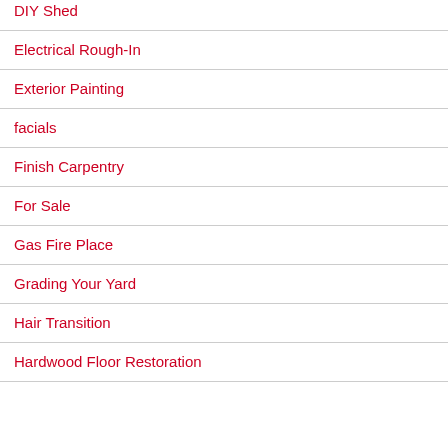DIY Shed
Electrical Rough-In
Exterior Painting
facials
Finish Carpentry
For Sale
Gas Fire Place
Grading Your Yard
Hair Transition
Hardwood Floor Restoration